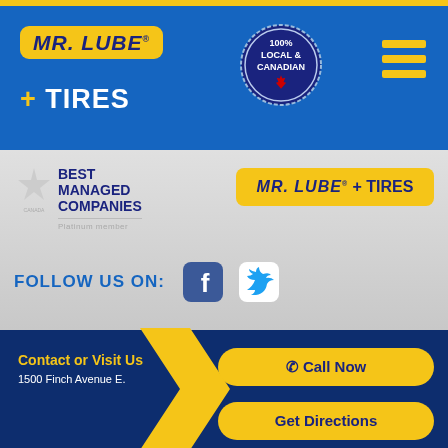[Figure (logo): Mr. Lube + Tires logo on blue header background with 100% Local & Canadian badge and hamburger menu icon]
[Figure (logo): Canada's Best Managed Companies - Platinum member logo]
[Figure (logo): Mr. Lube + Tires logo in yellow box]
FOLLOW US ON:
[Figure (logo): Facebook and Twitter social media icons]
Contact or Visit Us
1500 Finch Avenue E.
Call Now
Get Directions